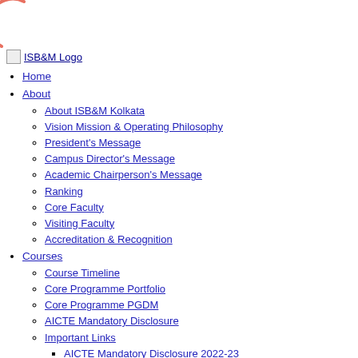[Figure (logo): Partial arc/circle logo graphic in salmon/pink color at top-left corner]
[Figure (logo): ISB&M Logo placeholder image link]
Home
About
About ISB&M Kolkata
Vision Mission & Operating Philosophy
President's Message
Campus Director's Message
Academic Chairperson's Message
Ranking
Core Faculty
Visiting Faculty
Accreditation & Recognition
Courses
Course Timeline
Core Programme Portfolio
Core Programme PGDM
AICTE Mandatory Disclosure
Important Links
AICTE Mandatory Disclosure 2022-23
AICTE Extension of Approval Letter EOA 2022-23